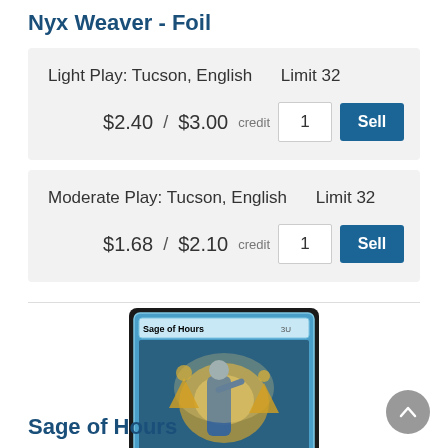Nyx Weaver - Foil
Light Play: Tucson, English    Limit 32
$2.40  / $3.00  credit   1   Sell
Moderate Play: Tucson, English    Limit 32
$1.68  / $2.10  credit   1   Sell
[Figure (photo): Magic: The Gathering card 'Sage of Hours' - Creature Human Wizard with blue frame, showing a robed figure with golden constructs, text about +1/+1 counters and taking extra turns, 1/1 power/toughness]
Sage of Hours